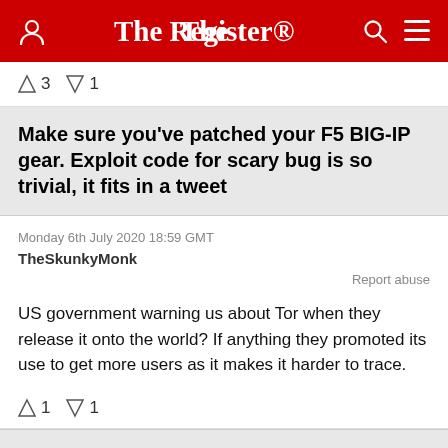The Register
↑3 ↓1
Make sure you've patched your F5 BIG-IP gear. Exploit code for scary bug is so trivial, it fits in a tweet
Monday 6th July 2020 18:59 GMT
TheSkunkyMonk
Report abuse
US government warning us about Tor when they release it onto the world? If anything they promoted its use to get more users as it makes it harder to trace.
↑1 ↓1
Rental electric scooters to clutter UK street scenes after Department of Transport gives year-long trial the thumbs up